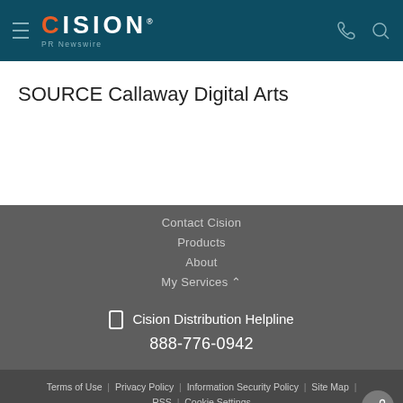CISION PR Newswire
SOURCE Callaway Digital Arts
Contact Cision
Products
About
My Services
Cision Distribution Helpline 888-776-0942
Terms of Use | Privacy Policy | Information Security Policy | Site Map | RSS | Cookie Settings Copyright © 2022 Cision US Inc.